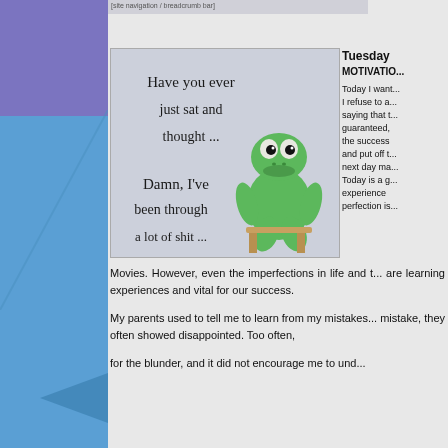[navigation bar / breadcrumb]
[Figure (illustration): Motivational image with Kermit the Frog sitting on a chair, with handwritten-style cursive text reading: Have you ever just sat and thought... Damn, I've been through a lot of shit...]
Tuesday
MOTIVATIO...
Today I want... I refuse to a... saying that t... guaranteed, the success and put off t... next day ma... Today is a g... experience perfection is...
Movies. However, even the imperfections in life and t... are learning experiences and vital for our success.
My parents used to tell me to learn from my mistakes... mistake, they often showed disappointed. Too often, for the blunder, and it did not encourage me to und...